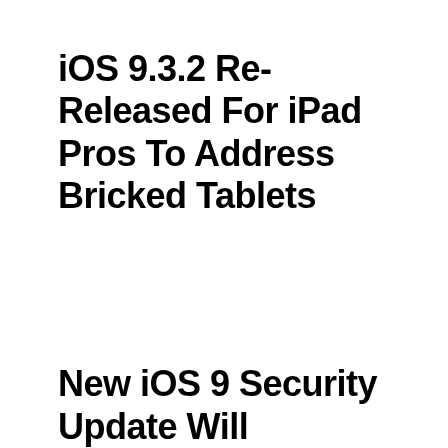iOS 9.3.2 Re-Released For iPad Pros To Address Bricked Tablets
New iOS 9 Security Update Will